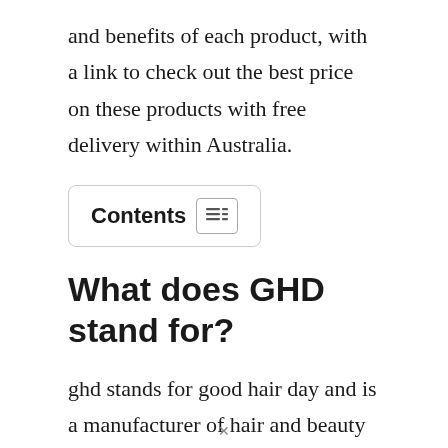and benefits of each product, with a link to check out the best price on these products with free delivery within Australia.
Contents
What does GHD stand for?
ghd stands for good hair day and is a manufacturer of hair and beauty products based in the United Kingdom and they are one